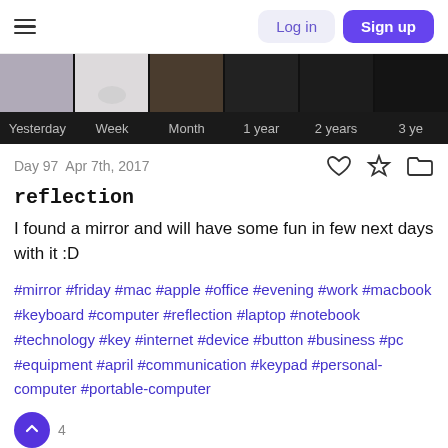Log in | Sign up
[Figure (screenshot): Timeline strip showing images at various time intervals: Yesterday, Week, Month, 1 year, 2 years, 3 years]
Day 97  Apr 7th, 2017
reflection
I found a mirror and will have some fun in few next days with it :D
#mirror #friday #mac #apple #office #evening #work #macbook #keyboard #computer #reflection #laptop #notebook #technology #key #internet #device #button #business #pc #equipment #april #communication #keypad #personal-computer #portable-computer
4